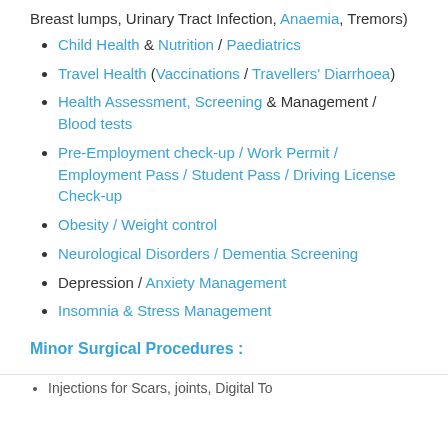Breast lumps, Urinary Tract Infection, Anaemia, Tremors)
Child Health & Nutrition / Paediatrics
Travel Health (Vaccinations / Travellers' Diarrhoea)
Health Assessment, Screening & Management / Blood tests
Pre-Employment check-up / Work Permit / Employment Pass / Student Pass / Driving License Check-up
Obesity / Weight control
Neurological Disorders / Dementia Screening
Depression / Anxiety Management
Insomnia & Stress Management
Minor Surgical Procedures :
Injections for Scars, joints, Digital Tofu, Joints…